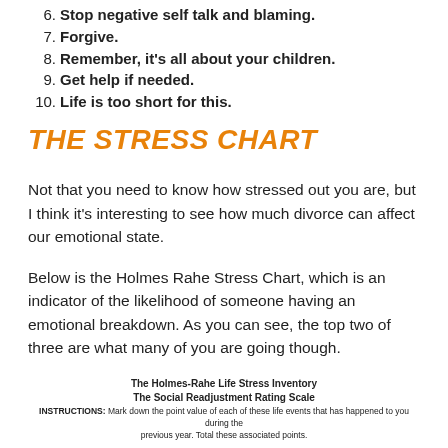6. Stop negative self talk and blaming.
7. Forgive.
8. Remember, it's all about your children.
9. Get help if needed.
10. Life is too short for this.
THE STRESS CHART
Not that you need to know how stressed out you are, but I think it's interesting to see how much divorce can affect our emotional state.
Below is the Holmes Rahe Stress Chart, which is an indicator of the likelihood of someone having an emotional breakdown. As you can see, the top two of three are what many of you are going though.
The Holmes-Rahe Life Stress Inventory
The Social Readjustment Rating Scale
INSTRUCTIONS: Mark down the point value of each of these life events that has happened to you during the previous year. Total these associated points.